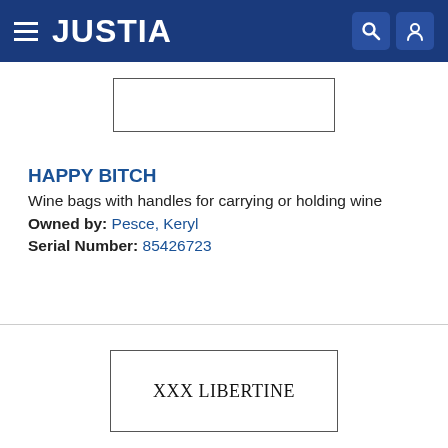JUSTIA
[Figure (other): Empty trademark image box at top of page]
HAPPY BITCH
Wine bags with handles for carrying or holding wine
Owned by: Pesce, Keryl
Serial Number: 85426723
[Figure (other): Trademark image box containing text XXX LIBERTINE in serif font]